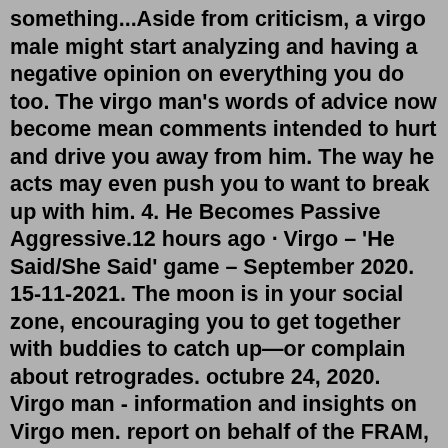something...Aside from criticism, a virgo male might start analyzing and having a negative opinion on everything you do too. The virgo man's words of advice now become mean comments intended to hurt and drive you away from him. The way he acts may even push you to want to break up with him. 4. He Becomes Passive Aggressive.12 hours ago · Virgo – 'He Said/She Said' game – September 2020. 15-11-2021. The moon is in your social zone, encouraging you to get together with buddies to catch up—or complain about retrogrades. octubre 24, 2020. Virgo man - information and insights on Virgo men. report on behalf of the FRAM, TAROT and GRANDMA collaborations. 09). 3. He might get angry too: One of the most common emotions that is biologically rooted in men from the past many centuries is aggression. Yes, If you block a guy, he starts to feel ignored and dejected, which might at times cause anger in him. Moreover, if the guy thinks that you are playing mind games, or if you are intentionally blocking him · Virgo men tend to be more self-conscious than